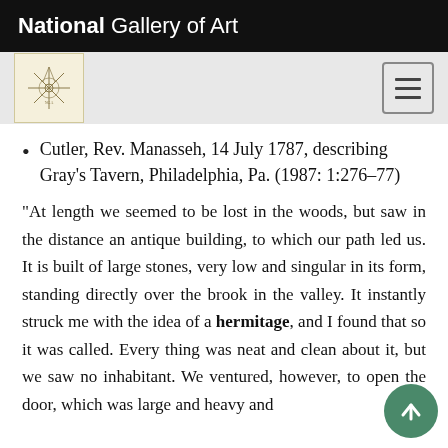National Gallery of Art
Cutler, Rev. Manasseh, 14 July 1787, describing Gray’s Tavern, Philadelphia, Pa. (1987: 1:276–77)
“At length we seemed to be lost in the woods, but saw in the distance an antique building, to which our path led us. It is built of large stones, very low and singular in its form, standing directly over the brook in the valley. It instantly struck me with the idea of a hermitage, and I found that so it was called. Every thing was neat and clean about it, but we saw no inhabitant. We ventured, however, to open the door, which was large and heavy and